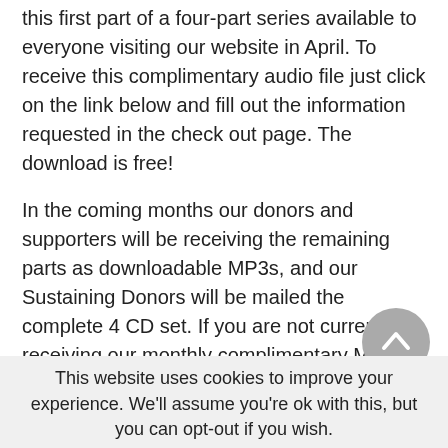this first part of a four-part series available to everyone visiting our website in April. To receive this complimentary audio file just click on the link below and fill out the information requested in the check out page. The download is free!
In the coming months our donors and supporters will be receiving the remaining parts as downloadable MP3s, and our Sustaining Donors will be mailed the complete 4 CD set. If you are not currently receiving our monthly complimentary MP3s or mailed CDs and would like to do so please visit our Donations page on our website where you will find out how to support our efforts and receive these monthly complimentary MP3s and CDs.
This website uses cookies to improve your experience. We'll assume you're ok with this, but you can opt-out if you wish.